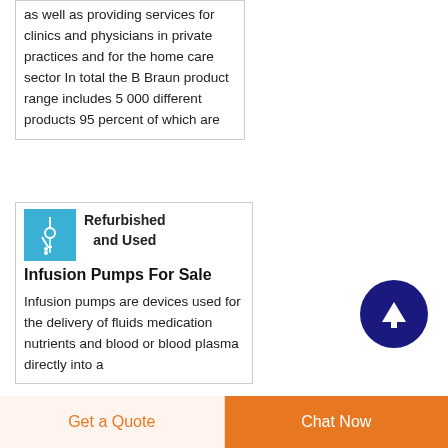as well as providing services for clinics and physicians in private practices and for the home care sector In total the B Braun product range includes 5 000 different products 95 percent of which are
[Figure (photo): Small blue thumbnail image of an infusion pump or medical device]
Refurbished and Used Infusion Pumps For Sale
Infusion pumps are devices used for the delivery of fluids medication nutrients and blood or blood plasma directly into a
[Figure (other): Dark navy blue circular scroll-to-top button with white upward arrow]
Get a Quote
Chat Now